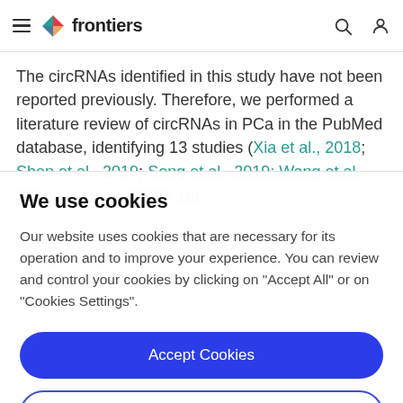frontiers
The circRNAs identified in this study have not been reported previously. Therefore, we performed a literature review of circRNAs in PCa in the PubMed database, identifying 13 studies (Xia et al., 2018; Shen et al., 2019; Song et al., 2019; Wang et al., 2019; Wu et al., 2019; Hu
We use cookies
Our website uses cookies that are necessary for its operation and to improve your experience. You can review and control your cookies by clicking on "Accept All" or on "Cookies Settings".
Accept Cookies
Cookies Settings